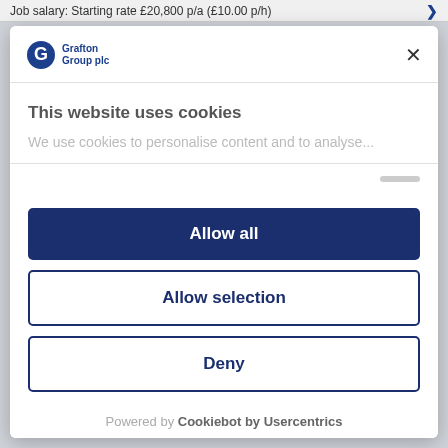Job salary: Starting rate £20,800 p/a (£10.00 p/h)
[Figure (logo): Grafton Group plc logo with stylized G icon in blue]
This website uses cookies
We use cookies to personalise content and to analyse...
Allow all
Allow selection
Deny
Powered by Cookiebot by Usercentrics